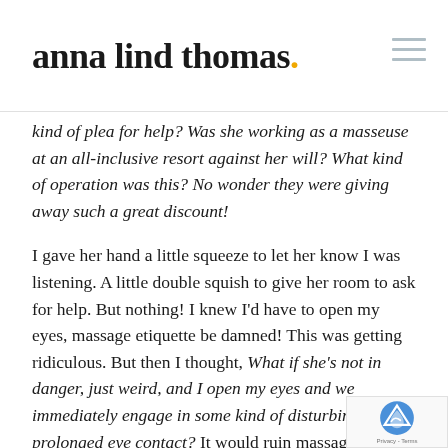anna lind thomas.
kind of plea for help? Was she working as a masseuse at an all-inclusive resort against her will? What kind of operation was this? No wonder they were giving away such a great discount!
I gave her hand a little squeeze to let her know I was listening. A little double squish to give her room to ask for help. But nothing! I knew I'd have to open my eyes, massage etiquette be damned! This was getting ridiculous. But then I thought, What if she's not in danger, just weird, and I open my eyes and we immediately engage in some kind of disturbingly prolonged eye contact? It would ruin massages forever and I just couldn't risk it.
I listened intently for cues from Rob. If I honed in real hard past the wind chimes, I could hear deep, rhythmic breathing.